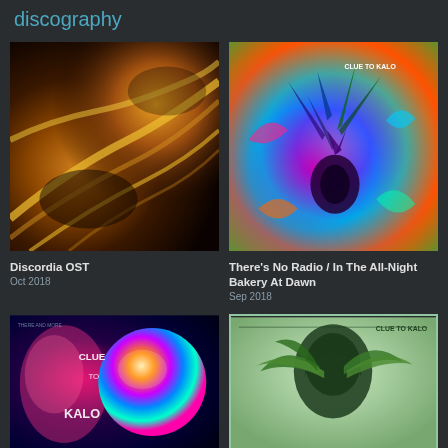discography
[Figure (photo): Album cover for Discordia OST — dark abstract texture with orange and yellow mineral/rock formations]
Discordia OST
Oct 2018
[Figure (photo): Album cover for There's No Radio / In The All-Night Bakery At Dawn — psychedelic colorful flowers/plants with text CLUE TO KALO]
There's No Radio / In The All-Night Bakery At Dawn
Sep 2018
[Figure (photo): Album cover with colorful psychedelic sphere and figure, text CLUE TO KALO]
[Figure (photo): Album cover with hooded figure holding green plants on light background, text CLUE TO KALO]